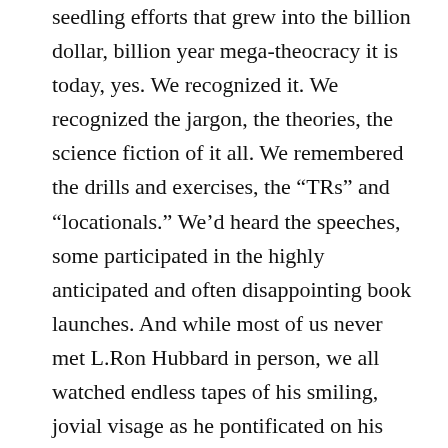seedling efforts that grew into the billion dollar, billion year mega-theocracy it is today, yes. We recognized it. We recognized the jargon, the theories, the science fiction of it all. We remembered the drills and exercises, the “TRs” and “locationals.” We’d heard the speeches, some participated in the highly anticipated and often disappointing book launches. And while most of us never met L.Ron Hubbard in person, we all watched endless tapes of his smiling, jovial visage as he pontificated on his theories, philosophies, and dictates. Seymour Hoffman’s got him down, to an eerie similarity that was undeniable to those in the know. Don’t let anyone tell you otherwise.